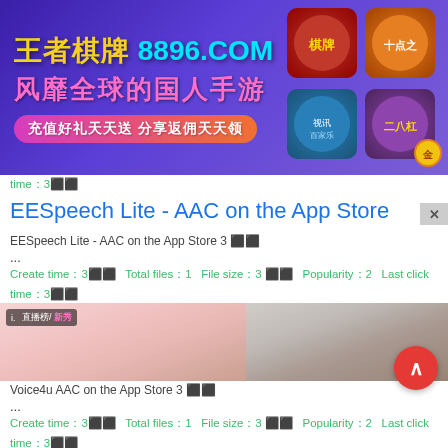[Figure (illustration): Chinese online gaming advertisement banner for '王者棋牌 8896.COM' with purple background, Chinese text '风靡全球的国人手游', pink button '充值好礼天天送 分享返佣天天领', and game icons on the right]
time：3⬛⬛
EESpeech Lite - AAC on the App Store
EESpeech Lite - AAC on the App Store 3 ⬛⬛
....
Create time：3⬛⬛   Total files：1   File size：3 ⬛⬛   Popularity：2   Last click time：3⬛⬛
[Figure (photo): Two side-by-side images, left showing a close-up of a person with a '直播榜/新秀' badge overlay, right showing a woman with long hair]
Voice4u AAC on the App Store 3 ⬛⬛
....
Create time：3⬛⬛   Total files：1   File size：3 ⬛⬛   Popularity：2   Last click time：3⬛⬛